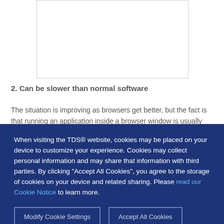[Figure (other): White rectangular image placeholder with border]
2. Can be slower than normal software
The situation is improving as browsers get better, but the fact is that running an application inside a browser window is usually not as
When visiting the TDS® website, cookies may be placed on your device to customize your experience. Cookies may collect personal information and may share that information with third parties. By clicking “Accept All Cookies”, you agree to the storage of cookies on your device and related sharing. Please read our Cookie Notice to learn more.
Modify Cookie Settings
Accept All Cookies